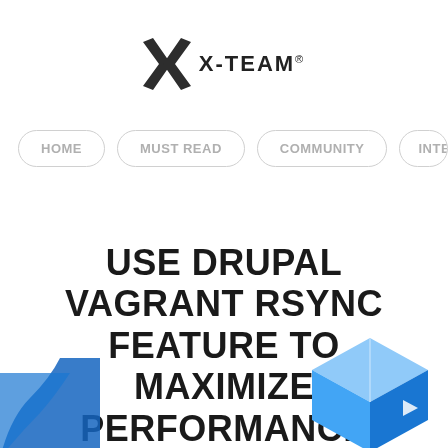[Figure (logo): X-TEAM logo with stylized X mark and text X-TEAM with registered trademark superscript]
HOME   MUST READ   COMMUNITY   INTE
USE DRUPAL VAGRANT RSYNC FEATURE TO MAXIMIZE PERFORMANCE
[Figure (illustration): Blue abstract wave shape on bottom left corner and 3D isometric blue box/server illustration on bottom right corner]